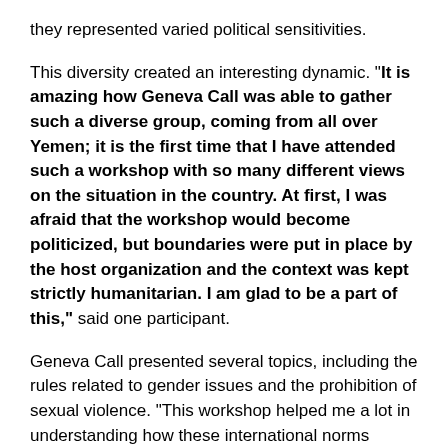they represented varied political sensitivities.
This diversity created an interesting dynamic. “It is amazing how Geneva Call was able to gather such a diverse group, coming from all over Yemen; it is the first time that I have attended such a workshop with so many different views on the situation in the country. At first, I was afraid that the workshop would become politicized, but boundaries were put in place by the host organization and the context was kept strictly humanitarian. I am glad to be a part of this,” said one participant.
Geneva Call presented several topics, including the rules related to gender issues and the prohibition of sexual violence. “This workshop helped me a lot in understanding how these international norms address gender issues. I was surprised to learn how these norms seek to mitigate violence